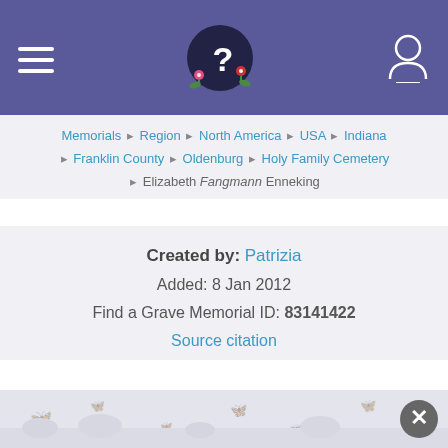Find a Grave website header with logo and navigation
Memorials › Region › North America › USA › Indiana › Franklin County › Oldenburg › Holy Family Cemetery › Elizabeth Fangmann Enneking
Created by: Patrizia
Added: 8 Jan 2012
Find a Grave Memorial ID: 83141422
Source citation